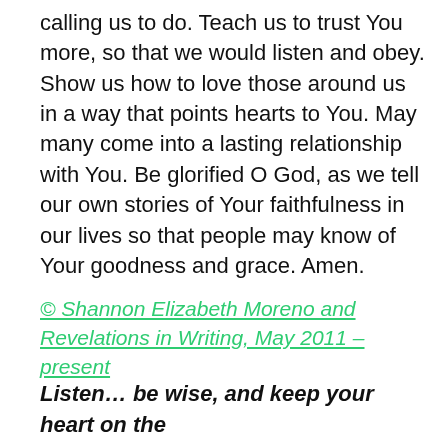calling us to do. Teach us to trust You more, so that we would listen and obey. Show us how to love those around us in a way that points hearts to You. May many come into a lasting relationship with You. Be glorified O God, as we tell our own stories of Your faithfulness in our lives so that people may know of Your goodness and grace. Amen.
© Shannon Elizabeth Moreno and Revelations in Writing, May 2011 – present
Listen… be wise, and keep your heart on the